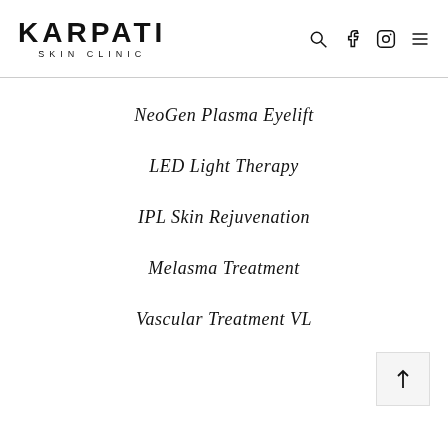KARPATI SKIN CLINIC
NeoGen Plasma Eyelift
LED Light Therapy
IPL Skin Rejuvenation
Melasma Treatment
Vascular Treatment VL